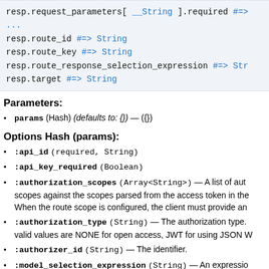resp.request_parameters[ __String ].required #=> ...
resp.route_id #=> String
resp.route_key #=> String
resp.route_response_selection_expression #=> Str...
resp.target #=> String
Parameters:
params (Hash) (defaults to: {}) — ({})
Options Hash (params):
:api_id (required, String)
:api_key_required (Boolean)
:authorization_scopes (Array<String>) — A list of authorization scopes configured on the route. The scopes are used with a JWT authorizer to authorize the method invocation. The authorization works by matching the route scopes against the scopes parsed from the access token in the incoming request. When the route scope is configured, the client must provide an access token instead of an...
:authorization_type (String) — The authorization type. The valid values are NONE for open access, JWT for using JSON W...
:authorizer_id (String) — The identifier.
:model_selection_expression (String) — An expression...
:operation_name (String) — A string with a length between...